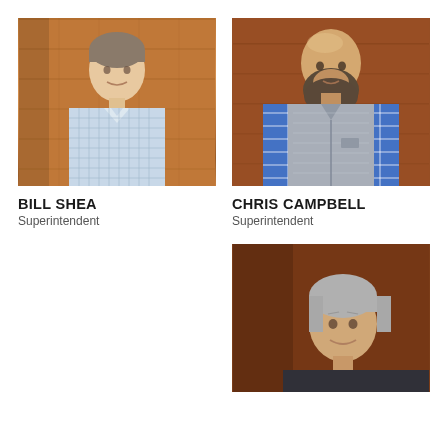[Figure (photo): Portrait photo of Bill Shea, a man in a light blue checkered shirt standing against a wood-paneled background]
BILL SHEA
Superintendent
[Figure (photo): Portrait photo of Chris Campbell, a bald man with a full beard wearing a blue plaid shirt and gray fleece vest, standing against a wood-paneled background]
CHRIS CAMPBELL
Superintendent
[Figure (photo): Partial portrait photo of a third man with gray hair wearing a dark shirt, partially visible, standing against a dark red/brown background]